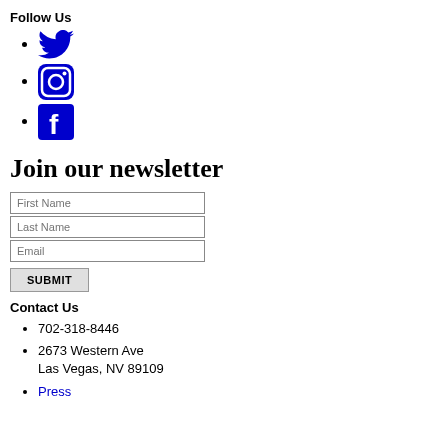Follow Us
Twitter icon
Instagram icon
Facebook icon
Join our newsletter
First Name input field
Last Name input field
Email input field
SUBMIT button
Contact Us
702-318-8446
2673 Western Ave Las Vegas, NV 89109
Press